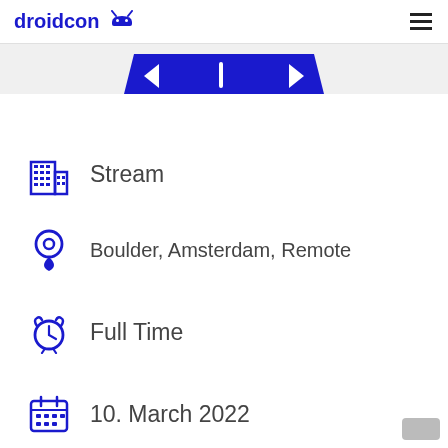droidcon
[Figure (illustration): Blue droidcon logo / android icon banner at top]
Stream
Boulder, Amsterdam, Remote
Full Time
10. March 2022